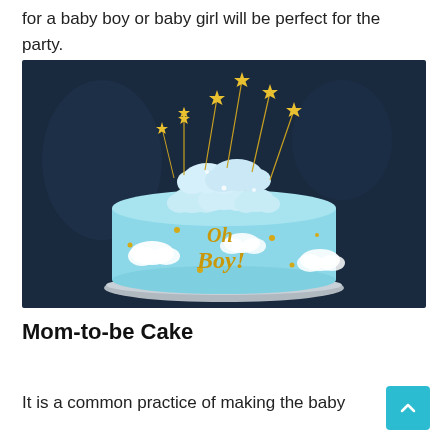for a baby boy or baby girl will be perfect for the party.
[Figure (photo): A light blue baby shower cake decorated with cloud-shaped fondant decorations, gold star toppers on sticks, and gold script reading 'Oh Boy!' on a silver cake board, photographed against a dark blue background.]
Mom-to-be Cake
It is a common practice of making the baby